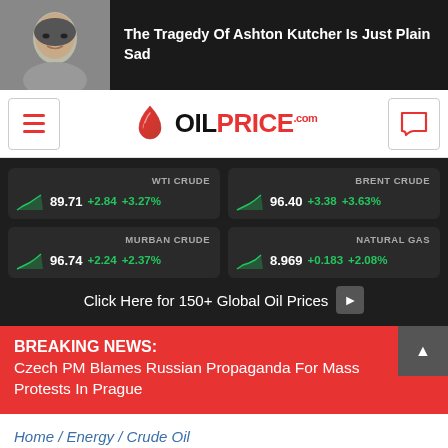[Figure (photo): Ad banner with photo of Ashton Kutcher and text: The Tragedy Of Ashton Kutcher Is Just Plain Sad]
[Figure (logo): OilPrice.com website header with hamburger menu, OilPrice.com logo, and chat icon]
[Figure (infographic): Oil price ticker showing WTI Crude 89.71 +2.84 +3.27%, Brent Crude 96.40 +3.38 +3.63%, Murban Crude 96.74 +2.24 +2.37%, Natural Gas 8.969 +0.183 +2.08%, with click button for 150+ Global Oil Prices]
BREAKING NEWS: Czech PM Blames Russian Propaganda For Mass Protests In Prague
Home / Energy / Crude Oil
Shar...